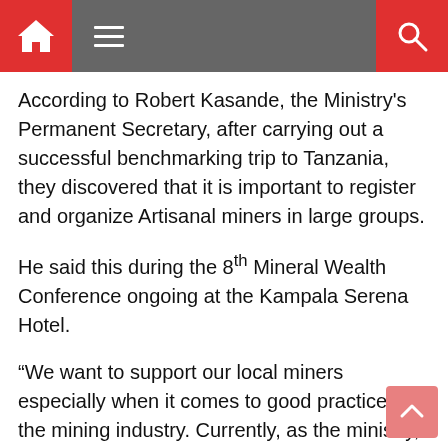Navigation bar with home icon, menu icon, and search icon
According to Robert Kasande, the Ministry's Permanent Secretary, after carrying out a successful benchmarking trip to Tanzania, they discovered that it is important to register and organize Artisanal miners in large groups.
He said this during the 8th Mineral Wealth Conference ongoing at the Kampala Serena Hotel.
“We want to support our local miners especially when it comes to good practices in the mining industry. Currently, as the ministry, we are challenged by the lack of updated data on the current players in the mining industry especially Artisanal miners,” said Kasande.
Kasande said where they have registered miners like in